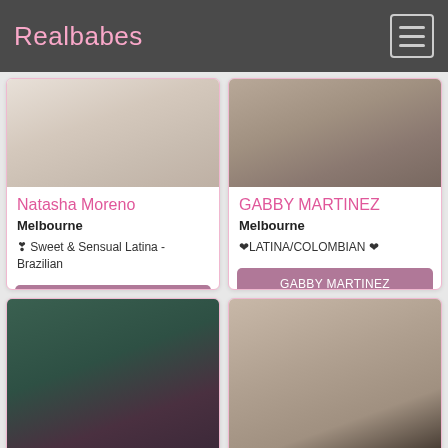Realbabes
Natasha Moreno
Melbourne
❣ Sweet & Sensual Latina - Brazilian
GABBY MARTINEZ
Melbourne
❤LATINA/COLOMBIAN ❤
[Figure (photo): Photo placeholder for Natasha Moreno card]
[Figure (photo): Photo placeholder for GABBY MARTINEZ card]
[Figure (photo): Bottom left profile photo]
[Figure (photo): Bottom right profile photo]